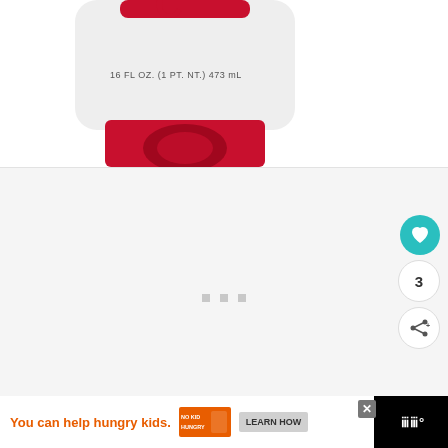[Figure (photo): Bottom portion of a white squeeze bottle with red cap/base, label text reading '16 FL OZ. (1 PT. NT.) 473 mL', with red branding elements visible at top]
[Figure (screenshot): Loading placeholder area with three small grey square dots centered, part of a web page UI with light grey background]
[Figure (other): Teal circular heart/like button on the right side]
3
[Figure (other): White circular share button with share icon on the right side]
[Figure (other): Advertisement banner: 'You can help hungry kids.' with No Kid Hungry logo and LEARN HOW button, with close X button and WW logo on right]